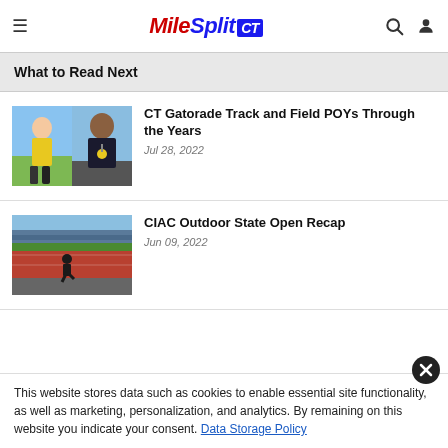MileSplit CT
What to Read Next
[Figure (photo): Two athletes side by side - a female athlete in yellow and a male athlete in dark jacket with medal]
CT Gatorade Track and Field POYs Through the Years
Jul 28, 2022
[Figure (photo): Track and field race at outdoor stadium with runners on red track and crowd in stands]
CIAC Outdoor State Open Recap
Jun 09, 2022
This website stores data such as cookies to enable essential site functionality, as well as marketing, personalization, and analytics. By remaining on this website you indicate your consent. Data Storage Policy